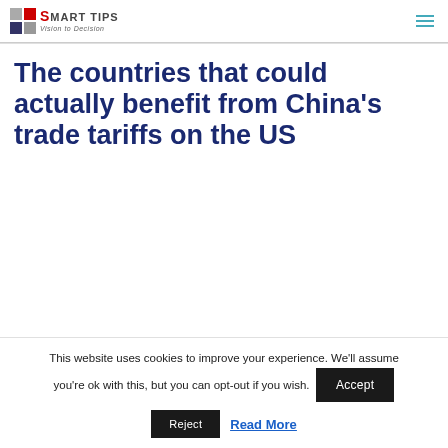Smart Tips — Vision to Decision
The countries that could actually benefit from China's trade tariffs on the US
This website uses cookies to improve your experience. We'll assume you're ok with this, but you can opt-out if you wish. Accept Reject Read More